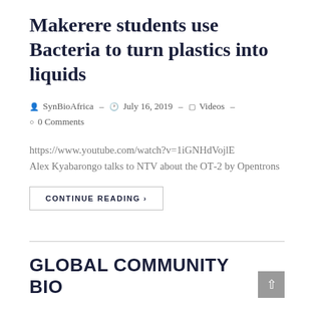Makerere students use Bacteria to turn plastics into liquids
SynBioAfrica  -  July 16, 2019  -  Videos  -  0 Comments
https://www.youtube.com/watch?v=1iGNHdVojlE Alex Kyabarongo talks to NTV about the OT-2 by Opentrons
CONTINUE READING ›
GLOBAL COMMUNITY BIO